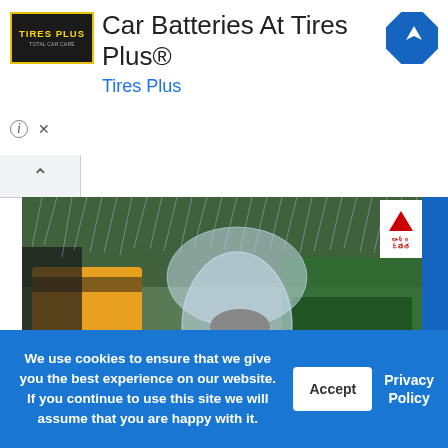[Figure (screenshot): Advertisement banner for Tires Plus car batteries, showing logo, title 'Car Batteries At Tires Plus®', brand name 'Tires Plus' in blue, and a blue diamond navigation icon]
[Figure (photo): Photograph of a person in rain wearing a transparent plastic rain cover, with auto-rickshaw and market stalls visible in background, heavy rainfall depicted]
We use cookies to ensure that we give you the best experience on our website. If you continue to use this site we will assume that you are happy with it.
Accept
Privacy Policy